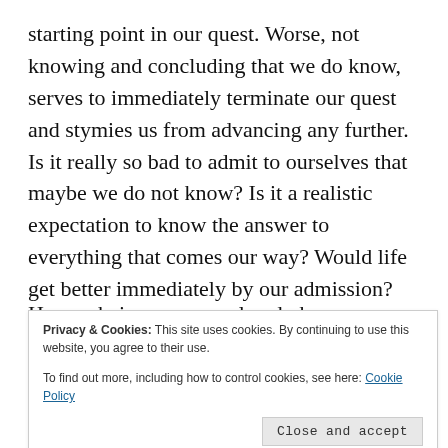starting point in our quest. Worse, not knowing and concluding that we do know, serves to immediately terminate our quest and stymies us from advancing any further. Is it really so bad to admit to ourselves that maybe we do not know? Is it a realistic expectation to know the answer to everything that comes our way? Would life get better immediately by our admission? Shoot, I don't know. Or do I?
Human beings, as you already know, are strange, irrational creatures at times. We are loathe to admit
Privacy & Cookies: This site uses cookies. By continuing to use this website, you agree to their use.
To find out more, including how to control cookies, see here: Cookie Policy
readily available to explain the occurrence. We scan